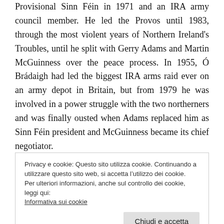Provisional Sinn Féin in 1971 and an IRA army council member. He led the Provos until 1983, through the most violent years of Northern Ireland's Troubles, until he split with Gerry Adams and Martin McGuinness over the peace process. In 1955, Ó Brádaigh had led the biggest IRA arms raid ever on an army depot in Britain, but from 1979 he was involved in a power struggle with the two northerners and was finally ousted when Adams replaced him as Sinn Féin president and McGuinness became its chief negotiator.
Privacy e cookie: Questo sito utilizza cookie. Continuando a utilizzare questo sito web, si accetta l'utilizzo dei cookie.
Per ulteriori informazioni, anche sul controllo dei cookie, leggi qui:
Informativa sui cookie
Chiudi e accetta
Adams's and McGuinness's policy of using the